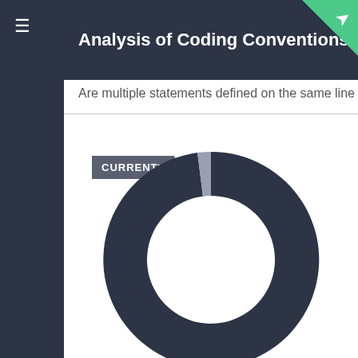Analysis of Coding Conventions for Latte
Are multiple statements defined on the same line o
CURRENT
[Figure (donut-chart): Donut chart showing nearly all dark navy fill with a tiny light grey slice, indicating ~98% No and ~2% Yes for multiple statements on same line]